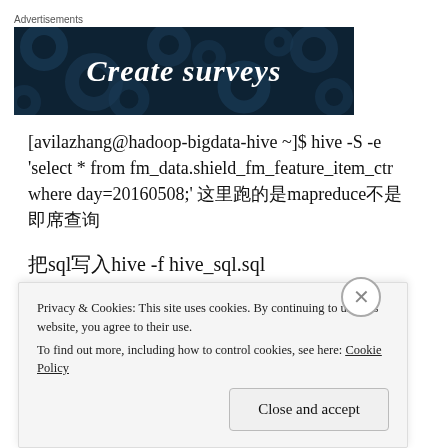[Figure (other): Advertisement banner with dark navy background showing text 'Create surveys' in white italic font with decorative circles]
[avilazhang@hadoop-bigdata-hive ~]$ hive -S -e 'select * from fm_data.shield_fm_feature_item_ctr where day=20160508;' 这里跑的是mapreduce不是即席查询
把sql写入hive -f hive_sql.sql
Privacy & Cookies: This site uses cookies. By continuing to use this website, you agree to their use.
To find out more, including how to control cookies, see here: Cookie Policy